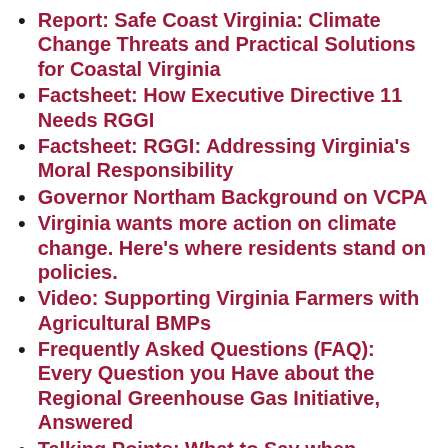Report: Safe Coast Virginia: Climate Change Threats and Practical Solutions for Coastal Virginia
Factsheet: How Executive Directive 11 Needs RGGI
Factsheet: RGGI: Addressing Virginia's Moral Responsibility
Governor Northam Background on VCPA
Virginia wants more action on climate change. Here's where residents stand on policies.
Video: Supporting Virginia Farmers with Agricultural BMPs
Frequently Asked Questions (FAQ): Every Question you Have about the Regional Greenhouse Gas Initiative, Answered
Talking Points: What to Say when Testifying on Virginia's Carbon Rule
Text of Virginia Alternative Energy &…